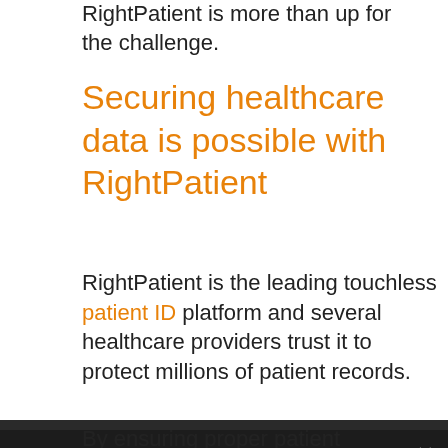RightPatient is more than up for the challenge.
Securing healthcare data is possible with RightPatient
RightPatient is the leading touchless patient ID platform and several healthcare providers trust it to protect millions of patient records.
By ensuring proper patient identification, RightPatient reduces the need for duplicate records, medical mix-ups, insurance fraud, and identity theft.
For in-person visits, the patient just needs to look at the camera for registration.
We use cookies to understand how you use our site and to improve your experience. By continuing to use our site, you accept our use of cookies as described in our revised Privacy Policy.